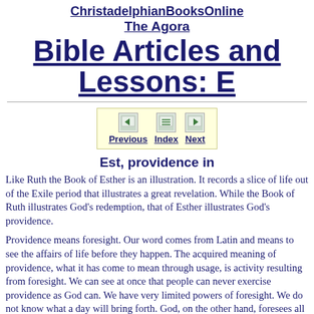ChristadelphianBooksOnline
The Agora
Bible Articles and Lessons: E
[Figure (other): Navigation bar with Previous, Index, Next buttons on a light yellow background]
Est, providence in
Like Ruth the Book of Esther is an illustration. It records a slice of life out of the Exile period that illustrates a great revelation. While the Book of Ruth illustrates God's redemption, that of Esther illustrates God's providence.
Providence means foresight. Our word comes from Latin and means to see the affairs of life before they happen. The acquired meaning of providence, what it has come to mean through usage, is activity resulting from foresight. We can see at once that people can never exercise providence as God can. We have very limited powers of foresight. We do not know what a day will bring forth. God, on the other hand, foresees all things and can act because of